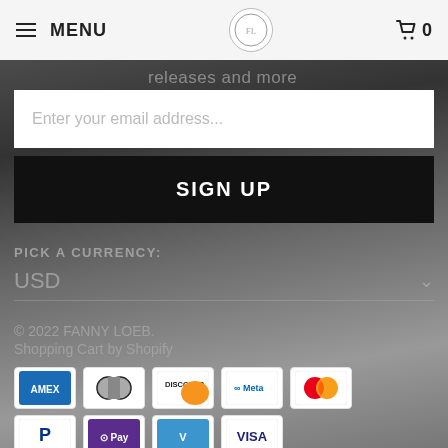MENU | [logo] | 🛒 0
releases and more
Enter your email address...
SIGN UP
PICK A CURRENCY:
USD
© 2022 FANNY LOEB.
Shopping Cart by Shopify
[Figure (other): Payment method icons: AMEX, Diners Club, Discover, Meta, Mastercard, PayPal, OPay, Venmo, Visa]